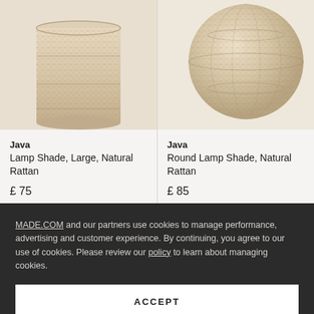[Figure (photo): Java Lamp Shade, Large, Natural Rattan - cylindrical woven rattan lamp shade in natural/beige tones, cropped from above]
[Figure (photo): Java Round Lamp Shade, Natural Rattan - spherical/globe woven rattan lamp shade in natural/beige tones]
Java
Lamp Shade, Large, Natural Rattan
£ 75
Java
Round Lamp Shade, Natural Rattan
£ 85
MADE.COM and our partners use cookies to manage performance, advertising and customer experience. By continuing, you agree to our use of cookies. Please review our policy to learn about managing cookies.
ACCEPT